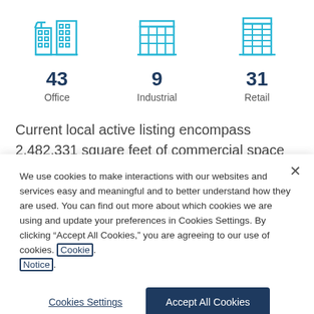[Figure (illustration): Cyan outline icon of an office building complex]
43
Office
[Figure (illustration): Cyan outline icon of an industrial building]
9
Industrial
[Figure (illustration): Cyan outline icon of a retail building]
31
Retail
Current local active listing encompass 2,482,331 square feet of commercial space for lease in Littleton. There are
We use cookies to make interactions with our websites and services easy and meaningful and to better understand how they are used. You can find out more about which cookies we are using and update your preferences in Cookies Settings. By clicking “Accept All Cookies,” you are agreeing to our use of cookies. Cookie Notice.
Cookies Settings
Accept All Cookies